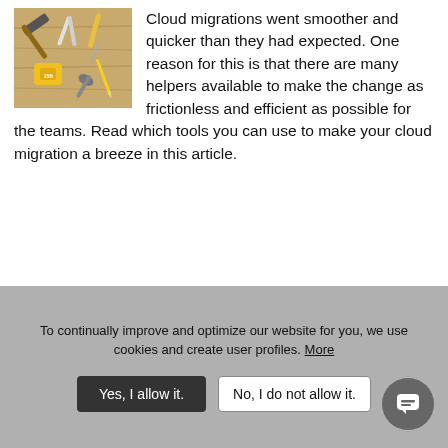[Figure (photo): Photo of various tools (hammers, pliers, screwdrivers) laid out on a wooden surface]
Cloud migrations went smoother and quicker than they had expected. One reason for this is that there are many helpers available to make the change as frictionless and efficient as possible for the teams. Read which tools you can use to make your cloud migration a breeze in this article.
Quo Vadis: Atlassian Cloud or Atlassian Data Center?
26. January 2022 by Matthias Rauer
To continually improve and optimize our website for you, we use cookies and create user profiles. More